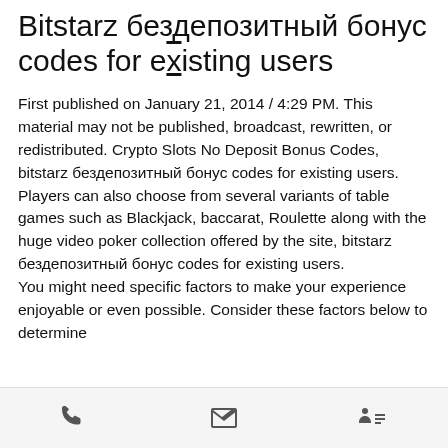Bitstarz бездепозитный бонус codes for existing users
First published on January 21, 2014 / 4:29 PM. This material may not be published, broadcast, rewritten, or redistributed. Crypto Slots No Deposit Bonus Codes, bitstarz бездепозитный бонус codes for existing users.
Players can also choose from several variants of table games such as Blackjack, baccarat, Roulette along with the huge video poker collection offered by the site, bitstarz бездепозитный бонус codes for existing users.
You might need specific factors to make your experience enjoyable or even possible. Consider these factors below to determine
phone | email | linkedin